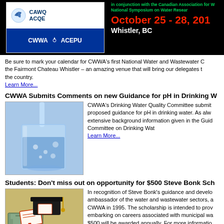[Figure (logo): CWWA and CAWQ/ACQE logos with event header banner showing October 25-28 date and Whistler BC location]
Be sure to mark your calendar for CWWA's first National Water and Wastewater Conference at the Fairmont Chateau Whistler – an amazing venue that will bring our delegates together from across the country.
Learn More...
CWWA Submits Comments on new Guidance for pH in Drinking W
[Figure (photo): Photo of water being poured into a glass]
CWWA's Drinking Water Quality Committee submitted comments on the proposed guidance for pH in drinking water. As always, we reviewed the extensive background information given in the Guidance Document. Committee on Drinking Wat
Learn More...
Students: Don't miss out on opportunity for $500 Steve Bonk Sch
[Figure (photo): Photo of graduation cap and diploma with money]
In recognition of Steve Bonk's guidance and development as an ambassador of the water and wastewater sectors, a scholarship was founded by CWWA in 1995. The scholarship is intended to provide recognition to students embarking on careers associated with municipal water or wastewater. $500 will be awarded annually. For more information
Learn More...